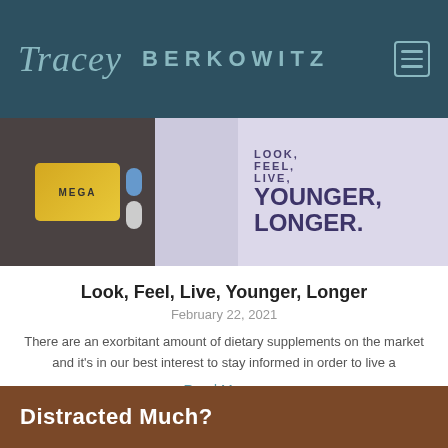Tracey BERKOWITZ
[Figure (illustration): Blog post hero image showing supplement pills/bottle on dark background on left, and text 'LOOK, FEEL, LIVE, YOUNGER, LONGER' on lavender background on right]
Look, Feel, Live, Younger, Longer
February 22, 2021
There are an exorbitant amount of dietary supplements on the market and it's in our best interest to stay informed in order to live a
Read More »
[Figure (photo): Bottom banner with text 'Distracted Much?' in white bold text on dark brown/orange background]